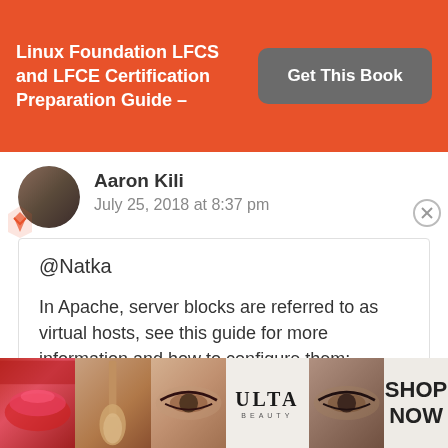[Figure (infographic): Orange promotional banner for Linux Foundation LFCS and LFCE Certification Preparation Guide with a 'Get This Book' button]
Aaron Kili
July 25, 2018 at 8:37 pm
@Natka

In Apache, server blocks are referred to as virtual hosts, see this guide for more information and how to configure them: https://www.tecmint.com/apache-ip-
[Figure (infographic): ULTA beauty advertisement banner with cosmetic images and 'SHOP NOW' call to action]